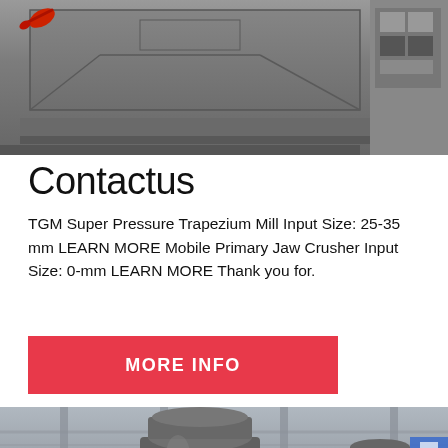[Figure (photo): Close-up photo of industrial machinery panel/cover, gray colored metal surface with geometric lines and structural details. A red tool or handle visible at top left. Electrical panel visible at top right.]
Contactus
TGM Super Pressure Trapezium Mill Input Size: 25-35 mm LEARN MORE Mobile Primary Jaw Crusher Input Size: 0-mm LEARN MORE Thank you for.
MORE INFO
[Figure (photo): Industrial factory interior showing large heavy machinery — a cone crusher or similar processing equipment — in a factory hall with metal beams and yellow safety railings visible.]